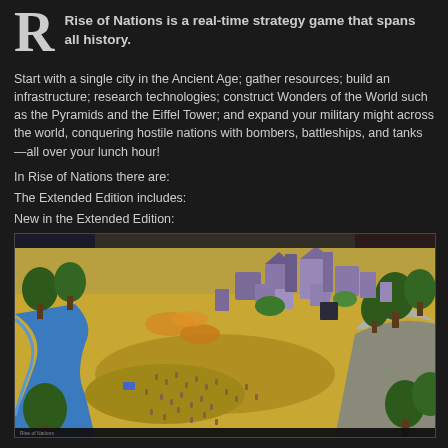Rise of Nations is a real-time strategy game that spans all history.
Start with a single city in the Ancient Age; gather resources; build an infrastructure; research technologies; construct Wonders of the World such as the Pyramids and the Eiffel Tower; and expand your military might across the world, conquering hostile nations with bombers, battleships, and tanks—all over your lunch hour!
In Rise of Nations there are:
The Extended Edition includes:
New in the Extended Edition:
[Figure (screenshot): Rise of Nations game screenshot showing an isometric view of a city under construction with units, trees, and terrain including a river and rocky area.]